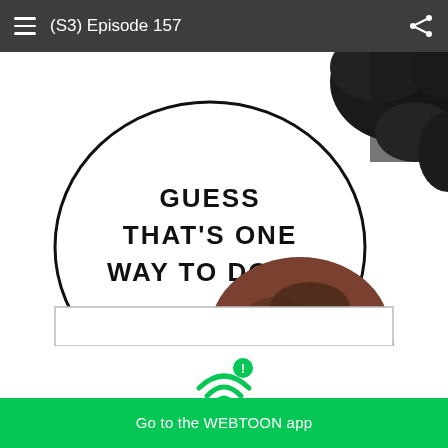(S3) Episode 157
[Figure (illustration): Webtoon comic panel showing a speech bubble with text 'GUESS THAT'S ONE WAY TO DO IT.' and a character with brown/dark hair partially visible at the bottom, with dark foliage in upper right corner. Below the comic panel is a second panel frame partially visible.]
Having trouble with slow networks?
Download stories on your phone and read offline!
Go to the WEBTOON app